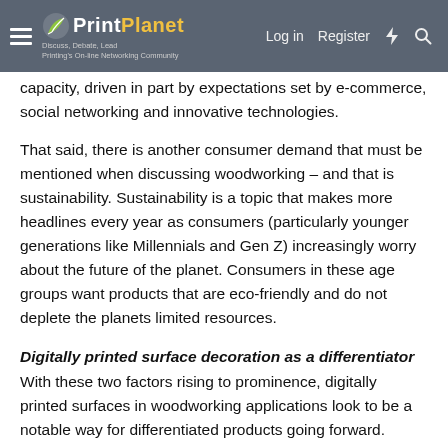PrintPlanet – Discuss, Debate, Lead – Printing's On-line Networking Community | Log in | Register
capacity, driven in part by expectations set by e-commerce, social networking and innovative technologies.
That said, there is another consumer demand that must be mentioned when discussing woodworking – and that is sustainability. Sustainability is a topic that makes more headlines every year as consumers (particularly younger generations like Millennials and Gen Z) increasingly worry about the future of the planet. Consumers in these age groups want products that are eco-friendly and do not deplete the planets limited resources.
Digitally printed surface decoration as a differentiator
With these two factors rising to prominence, digitally printed surfaces in woodworking applications look to be a notable way for differentiated products going forward. Digital printing can address the growing needs for short run as well as the need for operational efficiencies in longer run printing as well. This makes it ideal for direct customer suppliers as well as impregnators (High Pressure Laminates manufacturers).